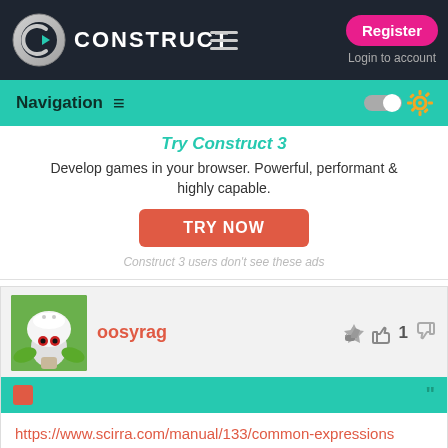CONSTRUCT — Register | Login to account
Navigation
Try Construct 3
Develop games in your browser. Powerful, performant & highly capable.
TRY NOW
Construct 3 users don't see these ads
oosyrag  👍 1 👎
https://www.scirra.com/manual/133/common-expressions

You're looking for the bounding box expressions?
MushroomKingdomr  👍 1